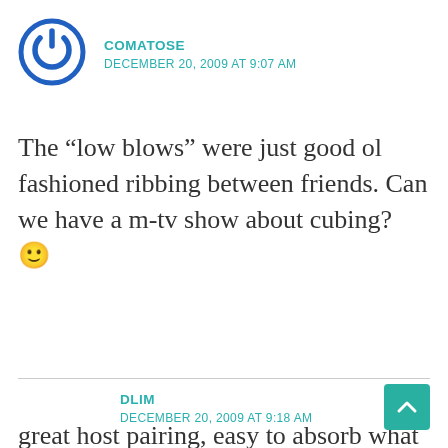[Figure (illustration): Circular avatar icon with power/on symbol, blue outline on white background]
COMATOSE
DECEMBER 20, 2009 AT 9:07 AM
The “low blows” were just good ol fashioned ribbing between friends. Can we have a m-tv show about cubing? 🙂
DLIM
DECEMBER 20, 2009 AT 9:18 AM
great host pairing, easy to absorb what he’s saying and the points he’s making